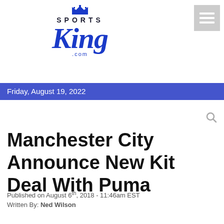[Figure (logo): SportsKing.com logo with crown icon above 'SPORTS' text and 'King' in blue italic script with '.com' below]
[Figure (other): Hamburger menu icon (three horizontal white bars on grey background)]
Friday, August 19, 2022
Manchester City Announce New Kit Deal With Puma
Published on August 6th, 2018 - 11:46am EST
Written By: Ned Wilson